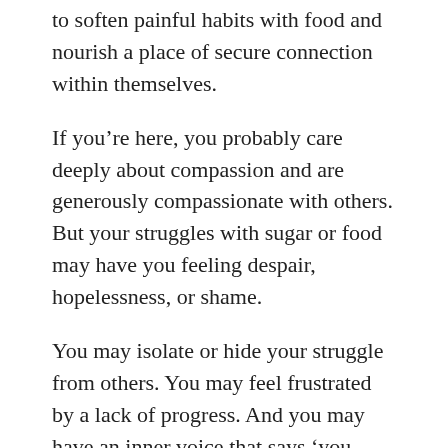to soften painful habits with food and nourish a place of secure connection within themselves.
If you’re here, you probably care deeply about compassion and are generously compassionate with others. But your struggles with sugar or food may have you feeling despair, hopelessness, or shame.
You may isolate or hide your struggle from others. You may feel frustrated by a lack of progress. And you may have an inner voice that says ‘you should be doing better.’
We’ll help you turn your compassionate heart towards your own self, towards this tender protector of food.